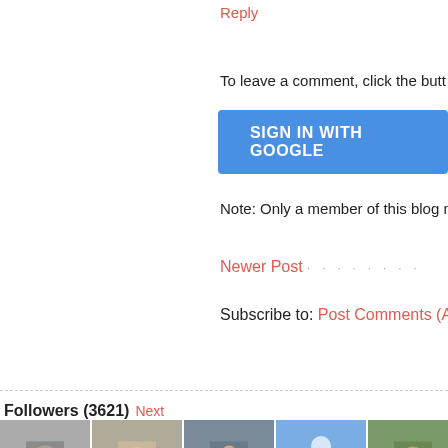Reply
To leave a comment, click the butt
SIGN IN WITH GOOGLE
Note: Only a member of this blog may p
Newer Post · · · · · · · ·
Subscribe to: Post Comments (Atom)
Followers (3621) Next
[Figure (other): Two rows of follower avatar thumbnails, some showing photos of people, cats, artworks, and some showing blue placeholder person icons]